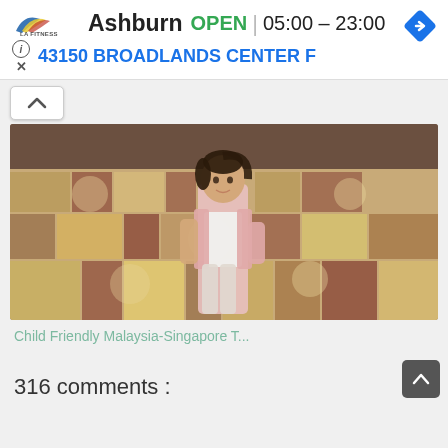LA Fitness Ashburn OPEN 05:00 – 23:00 | 43150 BROADLANDS CENTER F
[Figure (photo): Young girl in a pink jacket and white top standing on a decorative carpet floor, likely in a mall or airport. The carpet has a pattern of tan, red, brown, and cream colors.]
Child Friendly Malaysia-Singapore T...
316 comments :